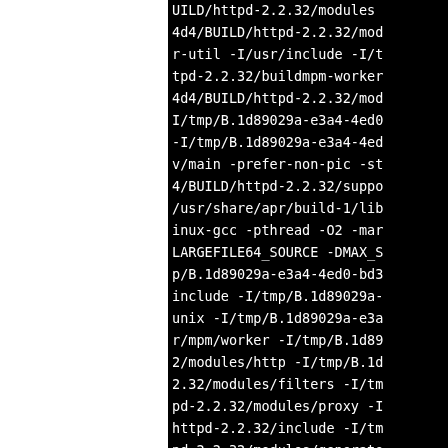UILD/httpd-2.2.32/modules 4d4/BUILD/httpd-2.2.32/mod r-util -I/usr/include -I/t tpd-2.2.32/buildmpm-worker 4d4/BUILD/httpd-2.2.32/mod I/tmp/B.1d89029a-e3a4-4ed0 -I/tmp/B.1d89029a-e3a4-4ed v/main -prefer-non-pic -st 4/BUILD/httpd-2.2.32/suppo /usr/share/apr/build-1/lib inux-gcc -pthread -O2 -mar LARGEFILE64_SOURCE -DMAX_S p/B.1d89029a-e3a4-4ed0-bd3 include -I/tmp/B.1d89029a- unix -I/tmp/B.1d89029a-e3a r/mpm/worker -I/tmp/B.1d89 2/modules/http -I/tmp/B.1d 2.32/modules/filters -I/tm pd-2.2.32/modules/proxy -I httpd-2.2.32/include -I/tm pd-2.2.32/modules/generato UILD/httpd-2.2.32/modules/ 4d4/BUILD/httpd-2.2.32/mod r-util -I/usr/include -I/